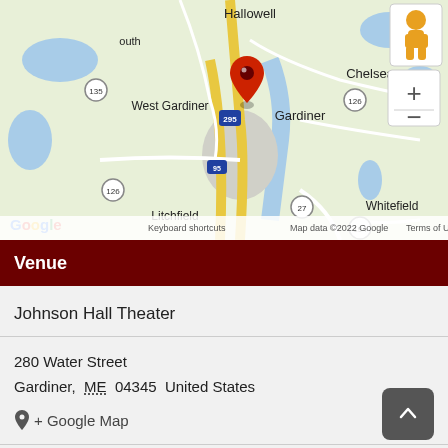[Figure (map): Google Maps view of Gardiner, Maine area showing a red location pin over Gardiner. Surrounding areas include Hallowell, Chelsea, West Gardiner, Litchfield, Ring Hill, and Whitefield. Roads include I-295, I-95, Route 27, Route 126, and Route 194. A pegman icon and zoom +/- controls appear on the right side. Google logo and map credits at the bottom.]
Venue
Johnson Hall Theater
280 Water Street
Gardiner, ME 04345 United States
+ Google Map